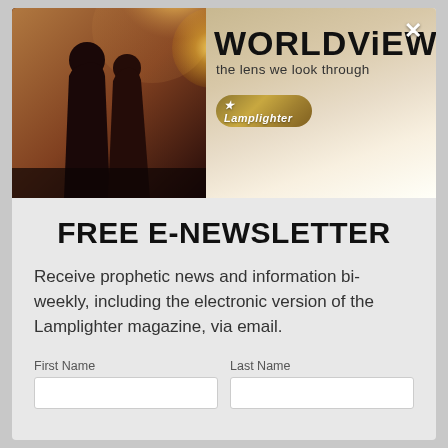[Figure (photo): Modal popup with banner image showing two silhouetted figures (romantic couple) against a bright backlit sky. Text overlay reads 'WORLDViEW: the lens we look through' with a Lamplighter badge logo.]
FREE E-NEWSLETTER
Receive prophetic news and information bi-weekly, including the electronic version of the Lamplighter magazine, via email.
First Name
Last Name